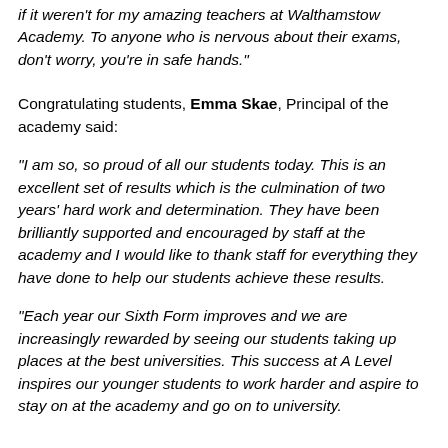if it weren't for my amazing teachers at Walthamstow Academy. To anyone who is nervous about their exams, don't worry, you're in safe hands."
Congratulating students, Emma Skae, Principal of the academy said:
“I am so, so proud of all our students today. This is an excellent set of results which is the culmination of two years' hard work and determination. They have been brilliantly supported and encouraged by staff at the academy and I would like to thank staff for everything they have done to help our students achieve these results.
“Each year our Sixth Form improves and we are increasingly rewarded by seeing our students taking up places at the best universities. This success at A Level inspires our younger students to work harder and aspire to stay on at the academy and go on to university.